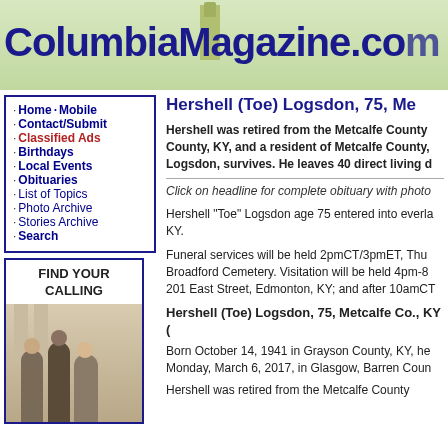ColumbiaMagazine.com
Home · Mobile
Contact/Submit
Classified Ads
Birthdays
Local Events
Obituaries
List of Topics
Photo Archive
Stories Archive
Search
[Figure (photo): Advertisement with text FIND YOUR CALLING and photo of smiling people]
Hershell (Toe) Logsdon, 75, Me
Hershell was retired from the Metcalfe County, County, KY, and a resident of Metcalfe County, Logsdon, survives. He leaves 40 direct living d
Click on headline for complete obituary with photo
Hershell "Toe" Logsdon age 75 entered into everla KY.
Funeral services will be held 2pmCT/3pmET, Thu Broadford Cemetery. Visitation will be held 4pm-8 201 East Street, Edmonton, KY; and after 10amCT
Hershell (Toe) Logsdon, 75, Metcalfe Co., KY (
Born October 14, 1941 in Grayson County, KY, he Monday, March 6, 2017, in Glasgow, Barren Coun
Hershell was retired from the Metcalfe County